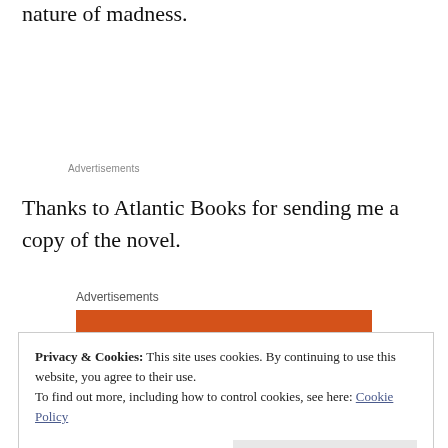nature of madness.
Advertisements
Thanks to Atlantic Books for sending me a copy of the novel.
Advertisements
Privacy & Cookies: This site uses cookies. By continuing to use this website, you agree to their use.
To find out more, including how to control cookies, see here: Cookie Policy
Close and accept